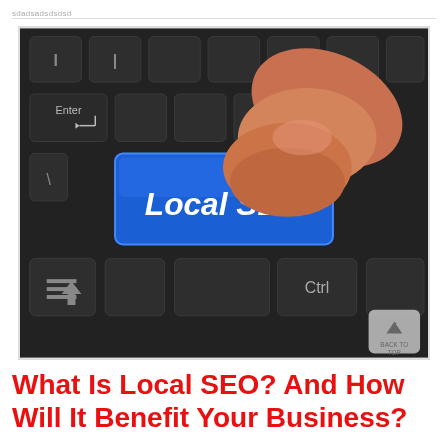sdadsadsdsdsd
[Figure (photo): Close-up photo of a computer keyboard with a blue key labeled 'Local SEO' being pressed by a finger. Other visible keys include 'Enter' and 'Ctrl'. The keyboard is dark/black colored.]
What Is Local SEO? And How Will It Benefit Your Business?